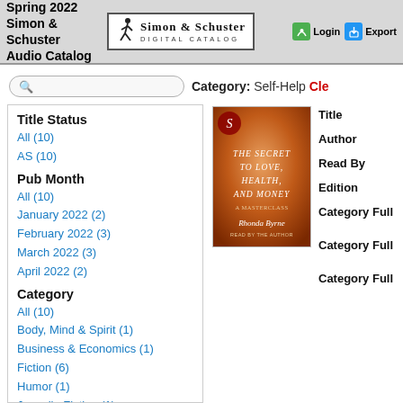Spring 2022 Simon & Schuster Audio Catalog
[Figure (logo): Simon & Schuster Digital Catalog logo with running figure icon, Login button and Export button]
Category: Self-Help  Clear
Title Status
All (10)
AS (10)
Pub Month
All (10)
January 2022 (2)
February 2022 (3)
March 2022 (3)
April 2022 (2)
Category
All (10)
Body, Mind & Spirit (1)
Business & Economics (1)
Fiction (6)
Humor (1)
Juvenile Fiction (1)
Language Arts & Disciplines (1)
[Figure (illustration): Book cover of 'The Secret to Love, Health, and Money' by Rhonda Byrne — orange/brown gradient background with white serif text]
Title
Author
Read By
Edition
Category Full
Category Full
Category Full